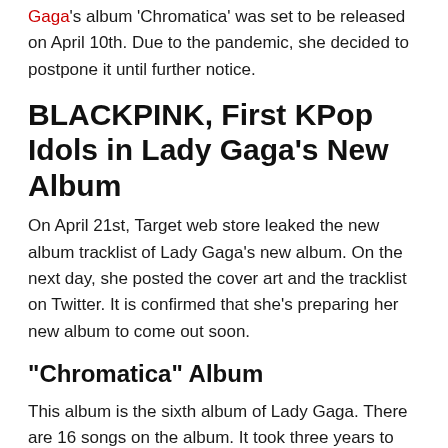Gaga's album 'Chromatica' was set to be released on April 10th. Due to the pandemic, she decided to postpone it until further notice.
BLACKPINK, First KPop Idols in Lady Gaga's New Album
On April 21st, Target web store leaked the new album tracklist of Lady Gaga's new album. On the next day, she posted the cover art and the tracklist on Twitter. It is confirmed that she's preparing her new album to come out soon.
“Chromatica” Album
This album is the sixth album of Lady Gaga. There are 16 songs on the album. It took three years to make the album since the last album, “Joanne.”